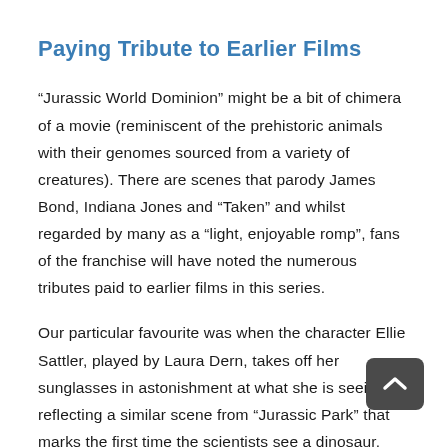Paying Tribute to Earlier Films
“Jurassic World Dominion” might be a bit of chimera of a movie (reminiscent of the prehistoric animals with their genomes sourced from a variety of creatures). There are scenes that parody James Bond, Indiana Jones and “Taken” and whilst regarded by many as a “light, enjoyable romp”, fans of the franchise will have noted the numerous tributes paid to earlier films in this series.
Our particular favourite was when the character Ellie Sattler, played by Laura Dern, takes off her sunglasses in astonishment at what she is seeing, reflecting a similar scene from “Jurassic Park” that marks the first time the scientists see a dinosaur.